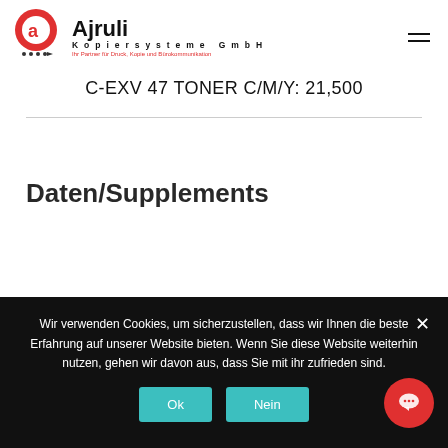[Figure (logo): Ajruli Kopiersysteme GmbH logo with red circular 'a' icon and text]
C-EXV 47 TONER C/M/Y: 21,500
Daten/Supplements...
Wir verwenden Cookies, um sicherzustellen, dass wir Ihnen die beste Erfahrung auf unserer Website bieten. Wenn Sie diese Website weiterhin nutzen, gehen wir davon aus, dass Sie mit ihr zufrieden sind.
Ok
Nein